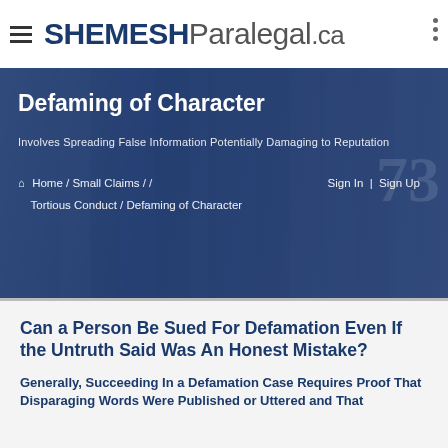SHEMESH Paralegal .ca
Defaming of Character
Involves Spreading False Information Potentially Damaging to Reputation
Home / Small Claims / / Tortious Conduct / Defaming of Character    Sign In  |  Sign Up
Can a Person Be Sued For Defamation Even If the Untruth Said Was An Honest Mistake?
Generally, Succeeding In a Defamation Case Requires Proof That Disparaging Words Were Published or Uttered and That